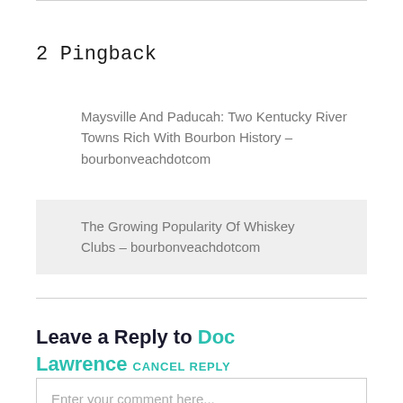2 Pingback
Maysville And Paducah: Two Kentucky River Towns Rich With Bourbon History – bourbonveachdotcom
The Growing Popularity Of Whiskey Clubs – bourbonveachdotcom
Leave a Reply to Doc Lawrence  CANCEL REPLY
Enter your comment here...